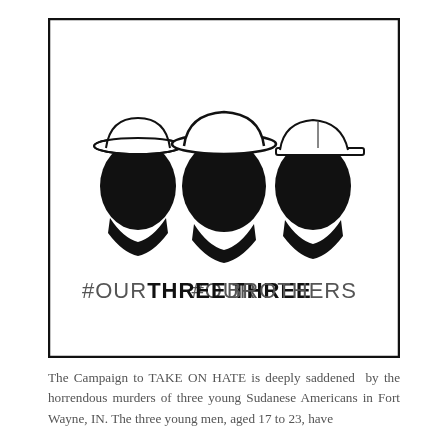[Figure (illustration): A framed illustration showing three black silhouettes of young men's heads wearing hats, arranged side by side. Below the silhouettes is the text '#OURTHREEBROTHERS' in bold mixed-weight typography (#OUR in gray, THREE in bold black, BROTHERS in gray).]
The Campaign to TAKE ON HATE is deeply saddened by the horrendous murders of three young Sudanese Americans in Fort Wayne, IN. The three young men, aged 17 to 23, have